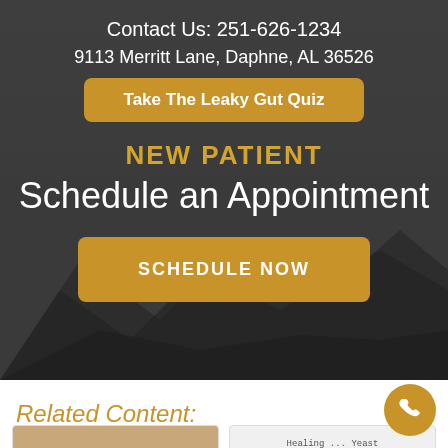Contact Us: 251-626-1234
9113 Merritt Lane, Daphne, AL 36526
Take The Leaky Gut Quiz
NEW PATIENT
Schedule an Appointment
SCHEDULE NOW
Related Content: